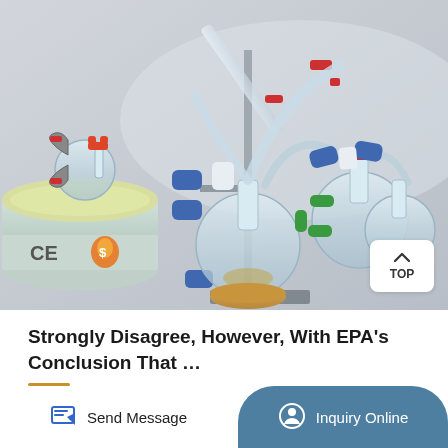[Figure (photo): Laboratory glass distillation apparatus setup including round-bottom flasks, condensers with red and blue clamps, a metal stand, and glassware arranged on a metallic base with a cork ring. CE and safety certification marks visible on a container at lower left. A 'TOP' navigation button overlay appears at lower right of the image.]
Strongly Disagree, However, With EPA's Conclusion That …
Send Message
Inquiry Online